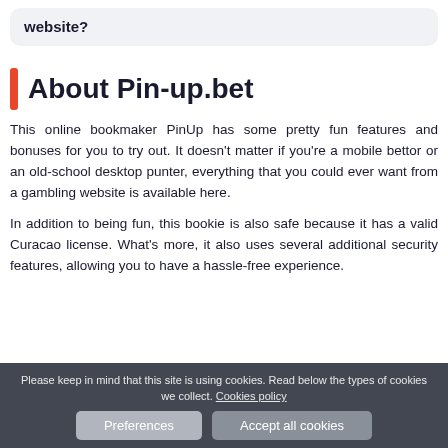website?
About Pin-up.bet
This online bookmaker PinUp has some pretty fun features and bonuses for you to try out. It doesn't matter if you're a mobile bettor or an old-school desktop punter, everything that you could ever want from a gambling website is available here.
In addition to being fun, this bookie is also safe because it has a valid Curacao license. What's more, it also uses several additional security features, allowing you to have a hassle-free experience.
Please keep in mind that this site is using cookies. Read below the types of cookies we collect. Cookies policy